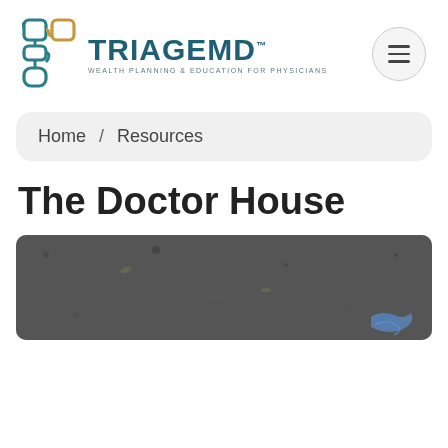[Figure (logo): TriageMD logo with teal and gold medical symbol on left, and text 'TRIAGEMD' in teal with 'WEALTH PLANNING & EDUCATION FOR PHYSICIANS' subtitle]
Home / Resources
The Doctor House
[Figure (photo): Aerial or close-up view of asphalt road/driveway surface, dark grey texture, with blue chalk markings visible in bottom right corner]